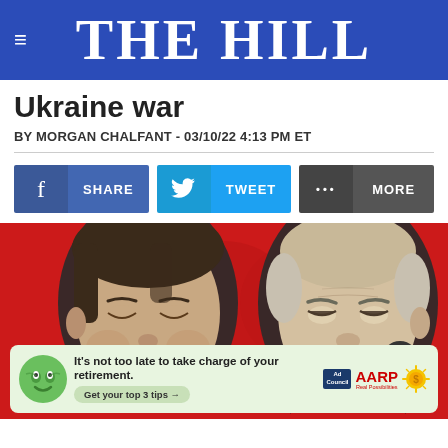THE HILL
Ukraine war
BY MORGAN CHALFANT - 03/10/22 4:13 PM ET
[Figure (other): Social share buttons: Facebook SHARE, Twitter TWEET, and MORE options]
[Figure (photo): Photo composite of Xi Jinping on the left and Joe Biden on the right against a red background, with an AARP retirement advertisement overlay at the bottom]